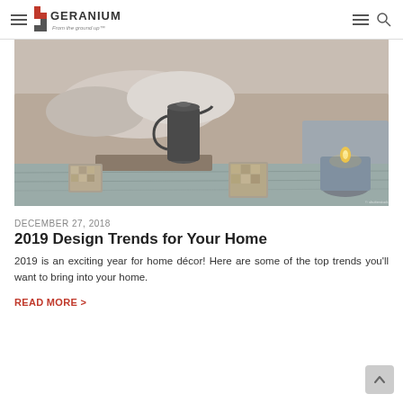GERANIUM — From the ground up
[Figure (photo): Cozy home interior scene with a dark metal pitcher, mosaic votive candle holders, a lit candle, and a gray knit throw on a light wooden table with a sofa in the background]
DECEMBER 27, 2018
2019 Design Trends for Your Home
2019 is an exciting year for home décor! Here are some of the top trends you'll want to bring into your home.
READ MORE >